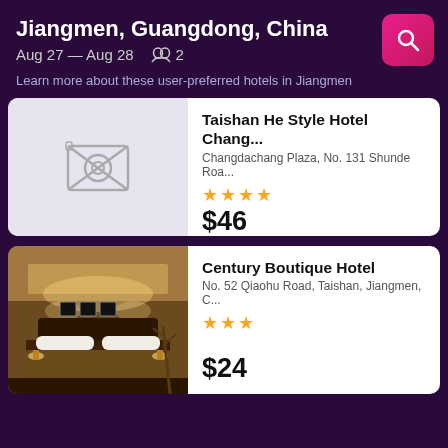Jiangmen, Guangdong, China
Aug 27 — Aug 28   👥 2
Learn more about these user-preferred hotels in Jiangmen
Taishan He Style Hotel Chang...
Changdachang Plaza, No. 131 Shunde Roa...
★★★★
$46
Century Boutique Hotel
No. 52 Qiaohu Road, Taishan, Jiangmen, C...
★★★
$24